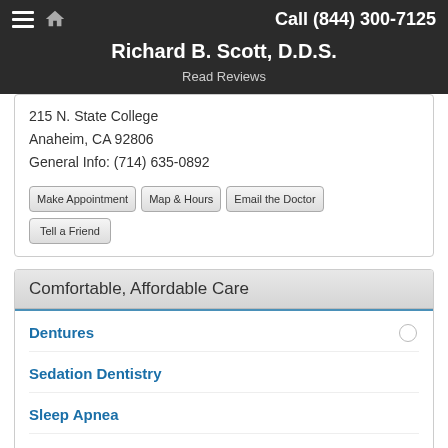Call (844) 300-7125
Richard B. Scott, D.D.S.
Read Reviews
215 N. State College
Anaheim, CA 92806
General Info: (714) 635-0892
Make Appointment | Map & Hours | Email the Doctor | Tell a Friend
Comfortable, Affordable Care
Dentures
Sedation Dentistry
Sleep Apnea
Dental Implants